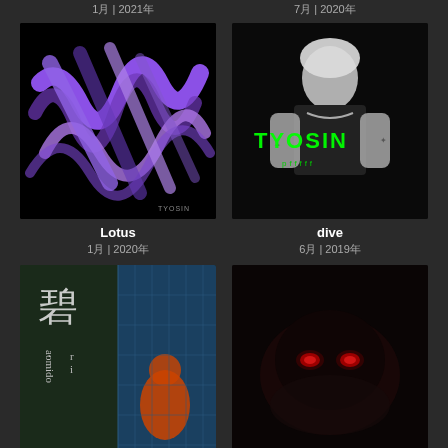1月 | 2021年
7月 | 2020年
[Figure (photo): Album art for Lotus by TYOSIN - purple neon 3D lettering on black background]
[Figure (photo): Album art for dive by TYOSIN - black and white photo of blonde person with green TYOSIN text overlay]
Lotus
1月 | 2020年
dive
6月 | 2019年
[Figure (photo): Album art - aomidori Japanese text with person in blue teal setting]
[Figure (photo): Dark album art with red glowing eyes creature in dark background]